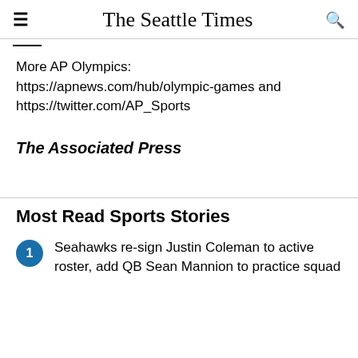The Seattle Times
More AP Olympics: https://apnews.com/hub/olympic-games and https://twitter.com/AP_Sports
The Associated Press
Most Read Sports Stories
Seahawks re-sign Justin Coleman to active roster, add QB Sean Mannion to practice squad